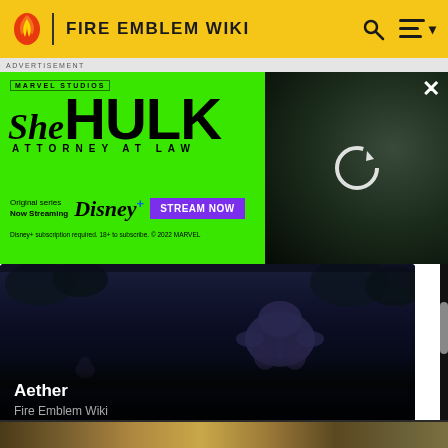FIRE EMBLEM WIKI
ADVERTISEMENT
[Figure (screenshot): She-Hulk Attorney at Law Disney+ advertisement on green background. Shows Marvel Studios logo, She-Hulk stylized title, 'Attorney at Law' subtitle, 'Original series Now Streaming' text, Disney+ logo, 'STREAM NOW' purple button, disclaimer text 'Disney+ subscription required. 18+ to subscribe. © 2022 MARVEL', and an image of a woman's face with a refresh/loading icon overlay.]
[Figure (screenshot): Dark nighttime scene from Fire Emblem showing a blue/purple creature or character crouching in a field, with dark trees in background. Article card for 'Aether' on Fire Emblem Wiki.]
Aether
Fire Emblem Wiki
[Figure (screenshot): Bottom strip showing partial image of another article card, appears to be a nature/landscape scene.]